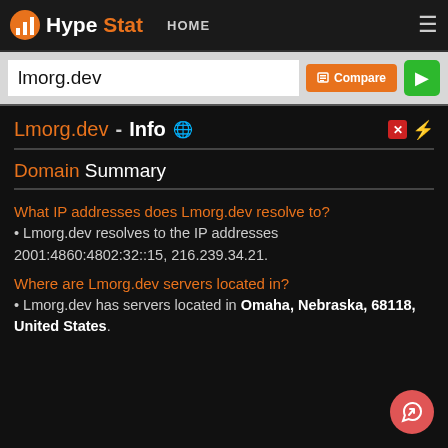HypeStat HOME
lmorg.dev
Lmorg.dev - Info
Domain Summary
What IP addresses does Lmorg.dev resolve to?
Lmorg.dev resolves to the IP addresses 2001:4860:4802:32::15, 216.239.34.21.
Where are Lmorg.dev servers located in?
Lmorg.dev has servers located in Omaha, Nebraska, 68118, United States.